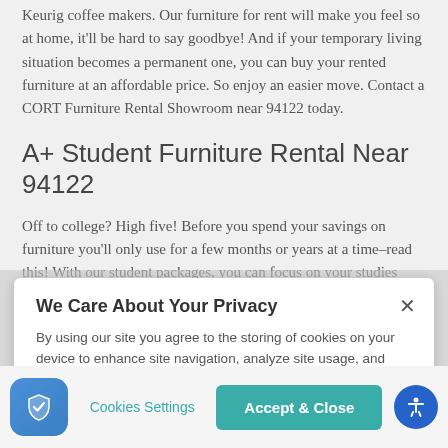Keurig coffee makers. Our furniture for rent will make you feel so at home, it'll be hard to say goodbye! And if your temporary living situation becomes a permanent one, you can buy your rented furniture at an affordable price. So enjoy an easier move. Contact a CORT Furniture Rental Showroom near 94122 today.
A+ Student Furniture Rental Near 94122
Off to college? High five! Before you spend your savings on furniture you'll only use for a few months or years at a time–read this! With our student packages, you can focus on your studies while we do what we do best: make your life simple by taking
We Care About Your Privacy
By using our site you agree to the storing of cookies on your device to enhance site navigation, analyze site usage, and assist in our marketing efforts.  Privacy Policy
Cookies Settings
Accept & Close